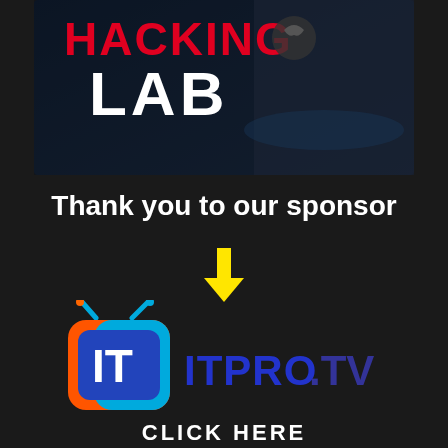[Figure (screenshot): Banner image showing 'HACKING LAB' text with red and white lettering over a dark background with a person at a computer]
Thank you to our sponsor
[Figure (illustration): Yellow downward-pointing arrow]
[Figure (logo): ITPro.TV logo: stylized TV icon with orange/blue gradient and 'IT' letters, followed by 'ITPRO.TV' text in blue]
CLICK HERE